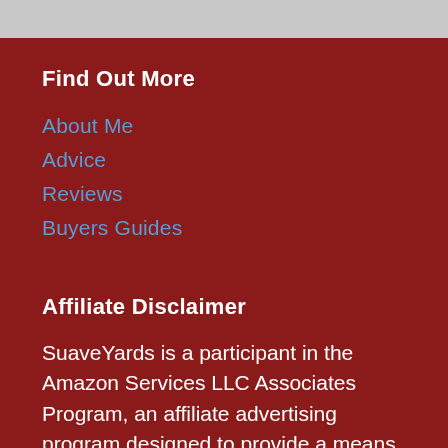Find Out More
About Me
Advice
Reviews
Buyers Guides
Affiliate Disclaimer
SuaveYards is a participant in the Amazon Services LLC Associates Program, an affiliate advertising program designed to provide a means for us to earn fees by linking to